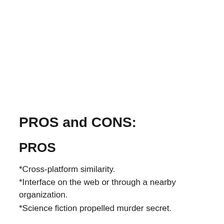PROS and CONS:
PROS
*Cross-platform similarity.
*Interface on the web or through a nearby organization.
*Science fiction propelled murder secret.